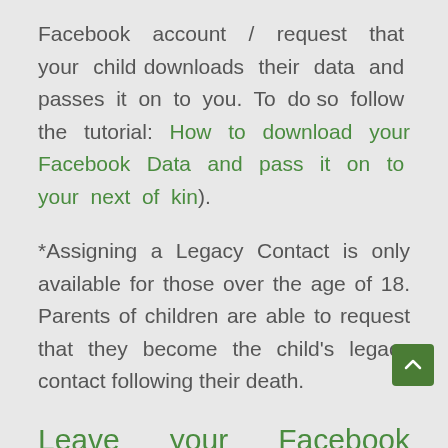Facebook account / request that your child downloads their data and passes it on to you. To do so follow the tutorial: How to download your Facebook Data and pass it on to your next of kin).
*Assigning a Legacy Contact is only available for those over the age of 18. Parents of children are able to request that they become the child's legacy contact following their death.
Leave your Facebook password to one or more friend or family members: